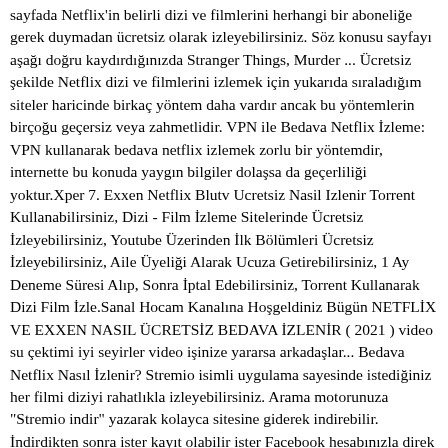sayfada Netflix'in belirli dizi ve filmlerini herhangi bir aboneliğe gerek duymadan ücretsiz olarak izleyebilirsiniz. Söz konusu sayfayı aşağı doğru kaydırdığınızda Stranger Things, Murder ... Ücretsiz şekilde Netflix dizi ve filmlerini izlemek için yukarıda sıraladığım siteler haricinde birkaç yöntem daha vardır ancak bu yöntemlerin birçoğu geçersiz veya zahmetlidir. VPN ile Bedava Netflix İzleme: VPN kullanarak bedava netflix izlemek zorlu bir yöntemdir, internette bu konuda yaygın bilgiler dolaşsa da geçerliliği yoktur.Xper 7. Exxen Netflix Blutv Ucretsiz Nasil Izlenir Torrent Kullanabilirsiniz, Dizi - Film İzleme Sitelerinde Ücretsiz İzleyebilirsiniz, Youtube Üzerinden İlk Bölümleri Ücretsiz İzleyebilirsiniz, Aile Üyeliği Alarak Ucuza Getirebilirsiniz, 1 Ay Deneme Süresi Alıp, Sonra İptal Edebilirsiniz, Torrent Kullanarak Dizi Film İzle.Sanal Hocam Kanalına Hoşgeldiniz Bügün NETFLİX VE EXXEN NASIL ÜCRETSİZ BEDAVA İZLENİR ( 2021 ) video su çektimi iyi seyirler video işinize yararsa arkadaşlar... Bedava Netflix Nasıl İzlenir? Stremio isimli uygulama sayesinde istediğiniz her filmi diziyi rahatlıkla izleyebilirsiniz. Arama motorunuza "Stremio indir" yazarak kolayca sitesine giderek indirebilir. İndirdikten sonra ister kayıt olabilir ister Facebook hesabınızla direk olarakta bağlanabilirsiniz. Uygulamaya giriş yaptıktan ...Netflix'te ücretsiz olarak nasıl izleyebilirim?  Netflix ücretsiz deneme sunmaz, ancak istediğiniz zaman planınızı değiştirebilir veya aboneliğinizi çevrimiçi olarak iptal edebilirsiniz. ... Netflix 2022'de ne izlenir?